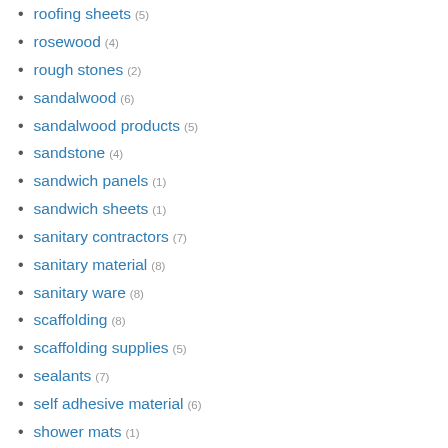roofing sheets (5)
rosewood (4)
rough stones (2)
sandalwood (6)
sandalwood products (5)
sandstone (4)
sandwich panels (1)
sandwich sheets (1)
sanitary contractors (7)
sanitary material (8)
sanitary ware (8)
scaffolding (8)
scaffolding supplies (5)
sealants (7)
self adhesive material (6)
shower mats (1)
shower room (3)
showers (5)
silverware (3)
sinks (4)
skylight domes (5)
slabs (7)
slate (1)